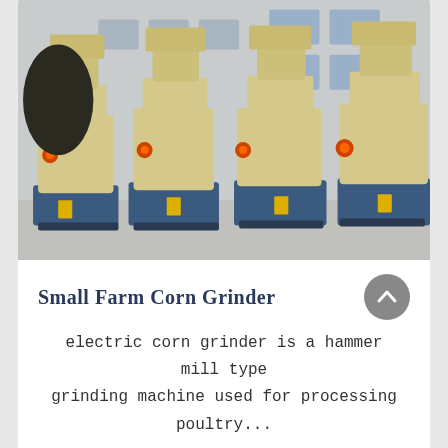[Figure (photo): Photograph of multiple large cream/yellow industrial corn grinder machines (hammer mill type) lined up outdoors in a factory yard with a building in the background. The machines have blue bases and are mounted on wheeled platforms.]
Small Farm Corn Grinder
electric corn grinder is a hammer mill type grinding machine used for processing poultry...
[Figure (photo): Partial view of another card section with a blue/dark strip visible at bottom of page]